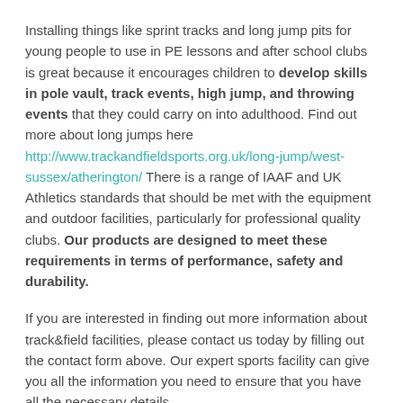Installing things like sprint tracks and long jump pits for young people to use in PE lessons and after school clubs is great because it encourages children to develop skills in pole vault, track events, high jump, and throwing events that they could carry on into adulthood. Find out more about long jumps here http://www.trackandfieldsports.org.uk/long-jump/west-sussex/atherington/ There is a range of IAAF and UK Athletics standards that should be met with the equipment and outdoor facilities, particularly for professional quality clubs. Our products are designed to meet these requirements in terms of performance, safety and durability.
If you are interested in finding out more information about track&field facilities, please contact us today by filling out the contact form above. Our expert sports facility can give you all the information you need to ensure that you have all the necessary details.
Compact Athletics Facilities Near Me
A brand new model of cost-effective and sustainable outside sports